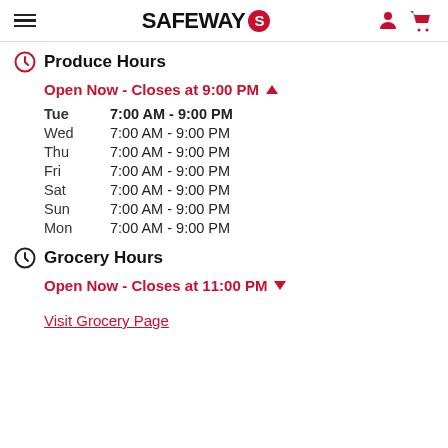SAFEWAY
Produce Hours
Open Now - Closes at 9:00 PM
| Day | Hours |
| --- | --- |
| Tue | 7:00 AM - 9:00 PM |
| Wed | 7:00 AM - 9:00 PM |
| Thu | 7:00 AM - 9:00 PM |
| Fri | 7:00 AM - 9:00 PM |
| Sat | 7:00 AM - 9:00 PM |
| Sun | 7:00 AM - 9:00 PM |
| Mon | 7:00 AM - 9:00 PM |
Grocery Hours
Open Now - Closes at 11:00 PM
Visit Grocery Page